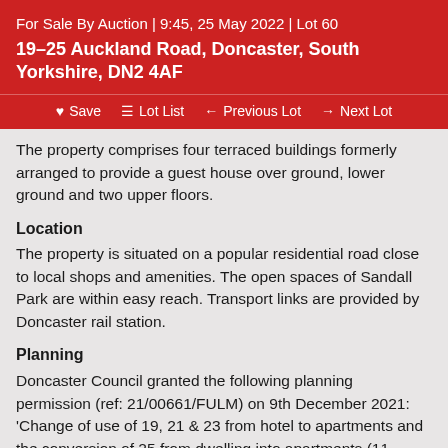For Sale By Auction | 9:45, 25 May 2022 | Lot 60
19–25 Auckland Road, Doncaster, South Yorkshire, DN2 4AF
♥ Save  ☰ Lot List  ← Previous Lot  → Next Lot
The property comprises four terraced buildings formerly arranged to provide a guest house over ground, lower ground and two upper floors.
Location
The property is situated on a popular residential road close to local shops and amenities. The open spaces of Sandall Park are within easy reach. Transport links are provided by Doncaster rail station.
Planning
Doncaster Council granted the following planning permission (ref: 21/00661/FULM) on 9th December 2021: 'Change of use of 19, 21 & 23 from hotel to apartments and the conversion of 25 from dwelling into apartments (11 apartments in total), including